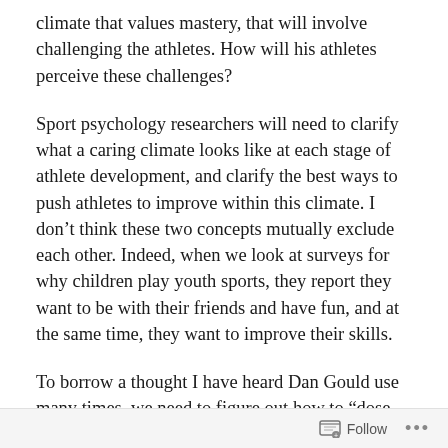climate that values mastery, that will involve challenging the athletes. How will his athletes perceive these challenges?
Sport psychology researchers will need to clarify what a caring climate looks like at each stage of athlete development, and clarify the best ways to push athletes to improve within this climate. I don't think these two concepts mutually exclude each other. Indeed, when we look at surveys for why children play youth sports, they report they want to be with their friends and have fun, and at the same time, they want to improve their skills.
To borrow a thought I have heard Dan Gould use many times, we need to figure out how to “dose adversity” so that we get the best response from the
Follow ...